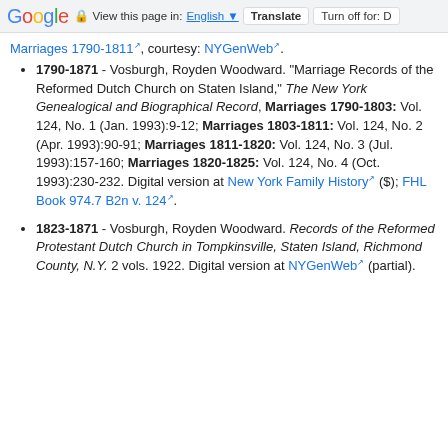Google | View this page in: English ▼ | Translate | Turn off for: D
Marriages 1790-1811, courtesy: NYGenWeb.
1790-1871 - Vosburgh, Royden Woodward. "Marriage Records of the Reformed Dutch Church on Staten Island," The New York Genealogical and Biographical Record, Marriages 1790-1803: Vol. 124, No. 1 (Jan. 1993):9-12; Marriages 1803-1811: Vol. 124, No. 2 (Apr. 1993):90-91; Marriages 1811-1820: Vol. 124, No. 3 (Jul. 1993):157-160; Marriages 1820-1825: Vol. 124, No. 4 (Oct. 1993):230-232. Digital version at New York Family History ($); FHL Book 974.7 B2n v. 124.
1823-1871 - Vosburgh, Royden Woodward. Records of the Reformed Protestant Dutch Church in Tompkinsville, Staten Island, Richmond County, N.Y. 2 vols. 1922. Digital version at NYGenWeb (partial).